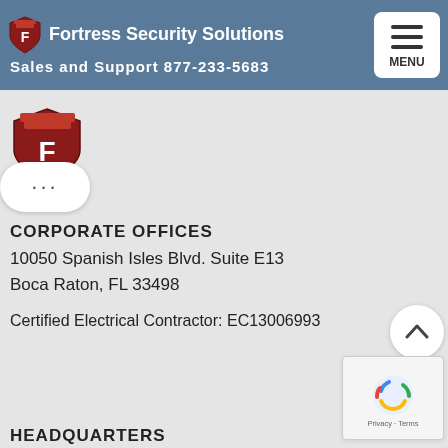RELATED POSTS
[Figure (logo): Fortress Security Solutions logo with shield icon and navigation bar showing phone number 877-233-5683 and hamburger menu button]
[Figure (logo): Fortress Security Solutions small shield logo in content area]
CORPORATE OFFICES
10050 Spanish Isles Blvd. Suite E13
Boca Raton, FL 33498
Certified Electrical Contractor: EC13006993
HEADQUARTERS